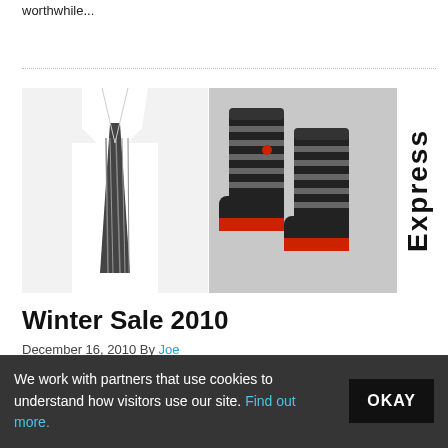worthwhile...
[Figure (photo): Three product images side by side: two ties worn with white dress shirts, and a pair of black striped socks with red accents. To the right is the 'Express' brand name written vertically.]
Winter Sale 2010
December 16, 2010 By Joe
We work with partners that use cookies to understand how visitors use our site. Find out more.